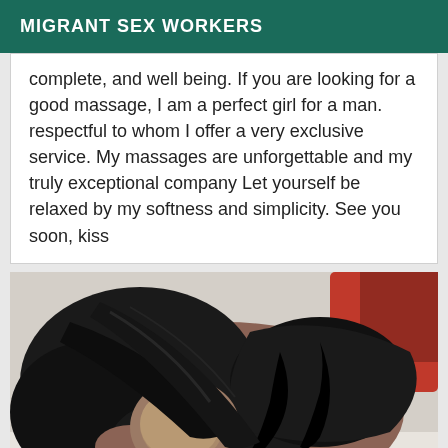MIGRANT SEX WORKERS
complete, and well being. If you are looking for a good massage, I am a perfect girl for a man. respectful to whom I offer a very exclusive service. My massages are unforgettable and my truly exceptional company Let yourself be relaxed by my softness and simplicity. See you soon, kiss
[Figure (photo): A woman with long dark hair lying on a white bed, wearing a black outfit, face obscured/blurred]